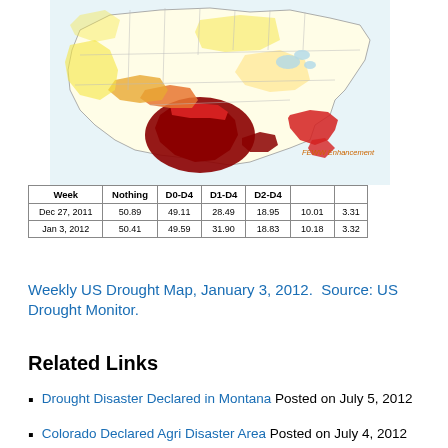[Figure (map): Weekly US Drought Map showing drought severity across the contiguous United States as of January 3, 2012. Colors range from yellow (D0) to dark red (D4) indicating increasing drought severity. Southern states including Texas and surrounding areas show the most severe drought conditions.]
| Week | Nothing | D0-D4 | D1-D4 | D2-D4 | D3-D4 | D4 |
| --- | --- | --- | --- | --- | --- | --- |
| Dec 27, 2011 | 50.89 | 49.11 | 28.49 | 18.95 | 10.01 | 3.31 |
| Jan 3, 2012 | 50.41 | 49.59 | 31.90 | 18.83 | 10.18 | 3.32 |
Weekly US Drought Map, January 3, 2012.  Source: US Drought Monitor.
Related Links
Drought Disaster Declared in Montana Posted on July 5, 2012
Colorado Declared Agri Disaster Area Posted on July 4, 2012